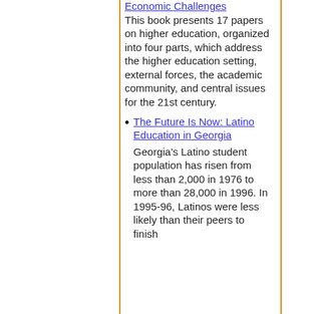Economic Challenges
This book presents 17 papers on higher education, organized into four parts, which address the higher education setting, external forces, the academic community, and central issues for the 21st century.
The Future Is Now: Latino Education in Georgia
Georgia's Latino student population has risen from less than 2,000 in 1976 to more than 28,000 in 1996. In 1995-96, Latinos were less likely than their peers to finish